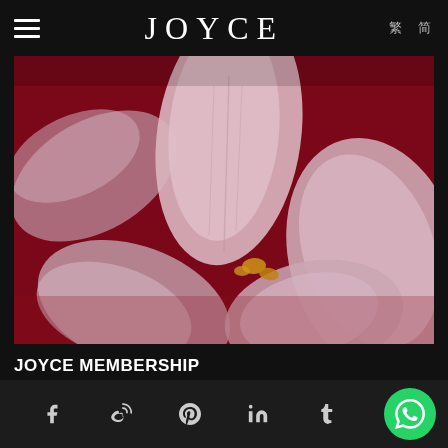JOYCE
[Figure (photo): Close-up macro photograph of pale pink orchid flowers against a deep crimson red background, with soft blur/bokeh effect on the petals]
JOYCE MEMBERSHIP
15 SEP 2021 | FASHION
Social icons: Facebook, Weibo, Pinterest, LinkedIn, Tumblr, WhatsApp